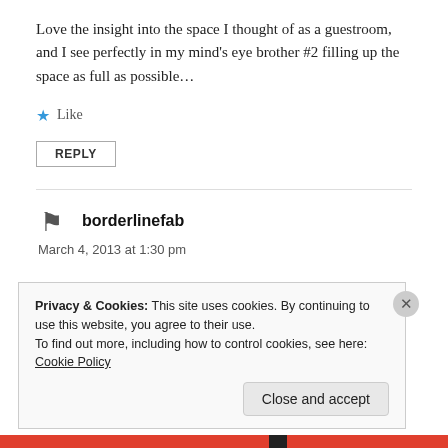Love the insight into the space I thought of as a guestroom, and I see perfectly in my mind’s eye brother #2 filling up the space as full as possible…
★ Like
REPLY
borderlinefab
March 4, 2013 at 1:30 pm
Privacy & Cookies: This site uses cookies. By continuing to use this website, you agree to their use.
To find out more, including how to control cookies, see here: Cookie Policy
Close and accept